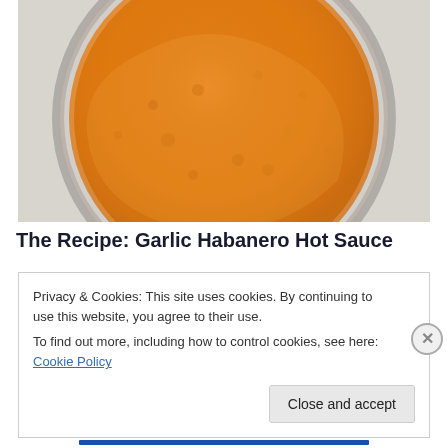[Figure (photo): Top-down view of a glass jar filled with orange garlic habanero hot sauce on a light gray surface]
The Recipe: Garlic Habanero Hot Sauce
Privacy & Cookies: This site uses cookies. By continuing to use this website, you agree to their use.
To find out more, including how to control cookies, see here: Cookie Policy
Close and accept